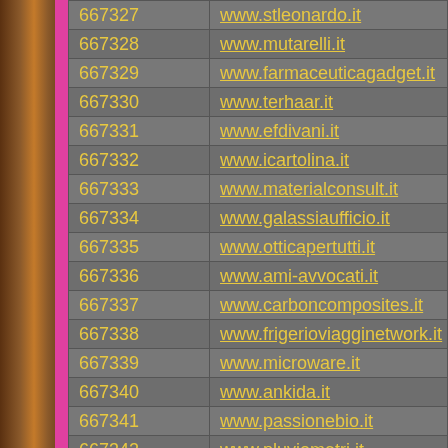| ID | URL |
| --- | --- |
| 667327 | www.stleonardo.it |
| 667328 | www.mutarelli.it |
| 667329 | www.farmaceuticagadget.it |
| 667330 | www.terhaar.it |
| 667331 | www.efdivani.it |
| 667332 | www.icartolina.it |
| 667333 | www.materialconsult.it |
| 667334 | www.galassiaufficio.it |
| 667335 | www.otticapertutti.it |
| 667336 | www.ami-avvocati.it |
| 667337 | www.carboncomposites.it |
| 667338 | www.frigerioviagginetwork.it |
| 667339 | www.microware.it |
| 667340 | www.ankida.it |
| 667341 | www.passionebio.it |
| 667342 | www.pluviometri.it |